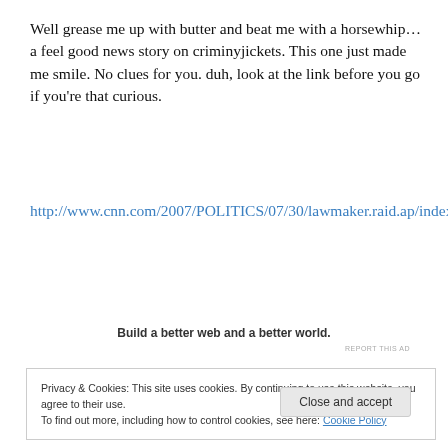Well grease me up with butter and beat me with a horsewhip…a feel good news story on criminyjickets.  This one just made me smile.  No clues for you.  duh, look at the link before you go if you're that curious.
http://www.cnn.com/2007/POLITICS/07/30/lawmaker.raid.ap/index.html
Build a better web and a better world.
REPORT THIS AD
Privacy & Cookies: This site uses cookies. By continuing to use this website, you agree to their use.
To find out more, including how to control cookies, see here: Cookie Policy
Close and accept
tougher to keep an unrelated earmark in a bill though.